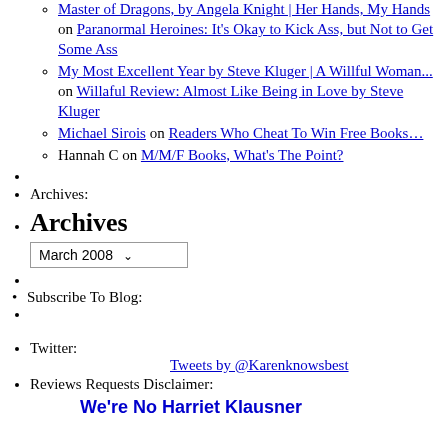Master of Dragons, by Angela Knight | Her Hands, My Hands on Paranormal Heroines: It's Okay to Kick Ass, but Not to Get Some Ass
My Most Excellent Year by Steve Kluger | A Willful Woman... on Willaful Review: Almost Like Being in Love by Steve Kluger
Michael Sirois on Readers Who Cheat To Win Free Books…
Hannah C on M/M/F Books, What's The Point?
Archives:
Archives
March 2008 (dropdown)
Subscribe To Blog:
Twitter:
Tweets by @Karenknowsbest
Reviews Requests Disclaimer:
We're No Harriet Klausner